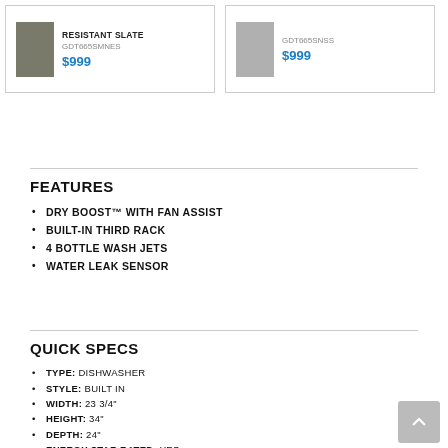[Figure (other): Product card for RESISTANT SLATE dishwasher, model GDT665SMNES, $999, with product image thumbnail]
[Figure (other): Product card for stainless steel dishwasher, model GDT665SNSS, $999, with product image thumbnail]
FEATURES
DRY BOOST™ WITH FAN ASSIST
BUILT-IN THIRD RACK
4 BOTTLE WASH JETS
WATER LEAK SENSOR
QUICK SPECS
TYPE: DISHWASHER
STYLE: BUILT IN
WIDTH: 23 3/4"
HEIGHT: 34"
DEPTH: 24"
ENERGY STAR RATED: YES
STAINLESS STEEL TUB: YES
FULLY INTEGRATED CONTROLS: YES
TALL TUB: YES
DECIBEL LEVEL: 46.0 DB
WIFI CONNECTED: NO